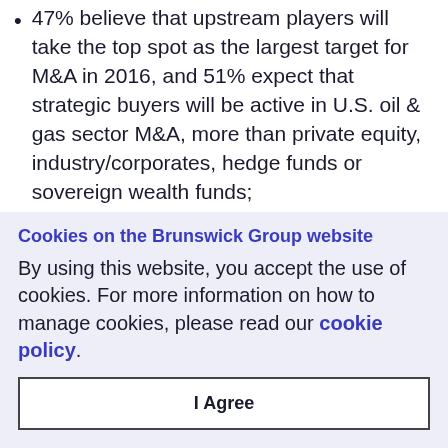47% believe that upstream players will take the top spot as the largest target for M&A in 2016, and 51% expect that strategic buyers will be active in U.S. oil & gas sector M&A, more than private equity, industry/corporates, hedge funds or sovereign wealth funds;
78% foresee U.S. domestic consolidation
Cookies on the Brunswick Group website
By using this website, you accept the use of cookies. For more information on how to manage cookies, please read our cookie policy.
I Agree